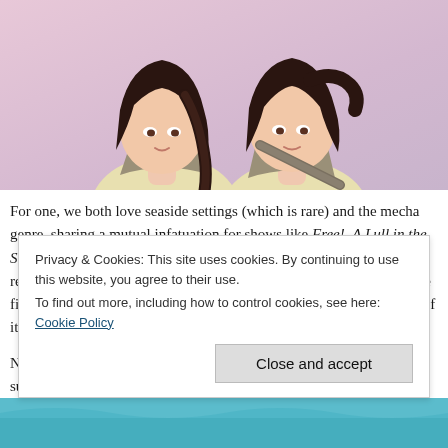[Figure (illustration): Anime-style illustration of two characters in pale yellow outfits with dark braided hair, pink and purple background, cropped from shoulders up.]
For one, we both love seaside settings (which is rare) and the mecha genre, sharing a mutual infatuation for shows like Free!, A Lull in the Sea (NagiAsu), and Gargantia. This means that whenever something related to either of those two starts airing or is released, we're both the first to usually let the other one know about it AND fan the heck out of it.
Naturally, when she initially approached me for a collab idea and we succeeded in churning out our Free! collab just a
Privacy & Cookies: This site uses cookies. By continuing to use this website, you agree to their use.
To find out more, including how to control cookies, see here: Cookie Policy
Close and accept
[Figure (illustration): Partial illustration visible at bottom of page, teal/blue tones.]